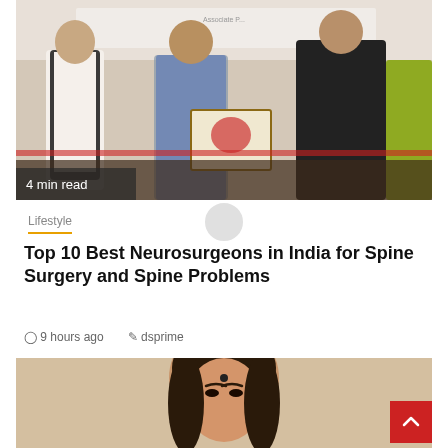[Figure (photo): Award ceremony photo showing two men on stage, one bald man in blue plaid shirt receiving a framed certificate from a man in black jacket, another man in white shirt and dark vest visible on the left, event backdrop visible]
4 min read
Lifestyle
Top 10 Best Neurosurgeons in India for Spine Surgery and Spine Problems
9 hours ago   dsprime
[Figure (photo): Portrait photo of a woman with long dark hair, bindi on forehead, looking at camera, neutral background]